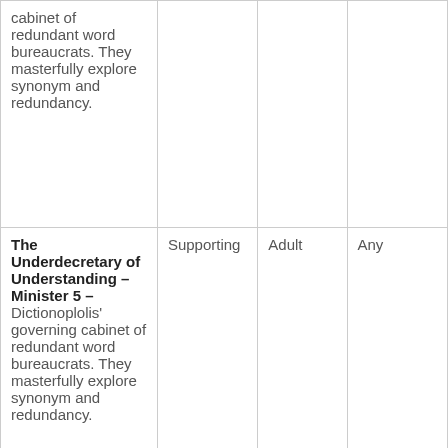| cabinet of redundant word bureaucrats. They masterfully explore synonym and redundancy. |  |  |  |
| The Underdecretary of Understanding – Minister 5 – Dictionoplolis' governing cabinet of redundant word bureaucrats. They masterfully explore synonym and redundancy. | Supporting | Adult | Any |